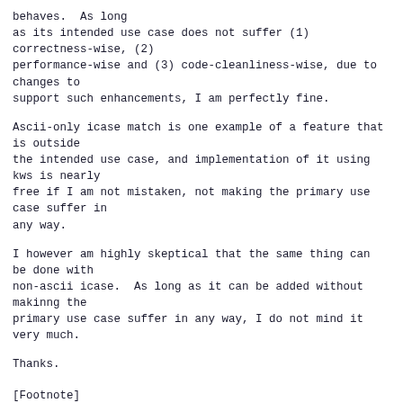behaves.  As long
as its intended use case does not suffer (1)
correctness-wise, (2)
performance-wise and (3) code-cleanliness-wise, due to changes to
support such enhancements, I am perfectly fine.
Ascii-only icase match is one example of a feature that is outside
the intended use case, and implementation of it using kws is nearly
free if I am not mistaken, not making the primary use case suffer in
any way.
I however am highly skeptical that the same thing can be done with
non-ascii icase.  As long as it can be added without makinng the
primary use case suffer in any way, I do not mind it very much.
Thanks.
[Footnote]
*1* The requirement is very simple.  You get a string that is unique
that is unique
in a blob that exists at the revision your traversal